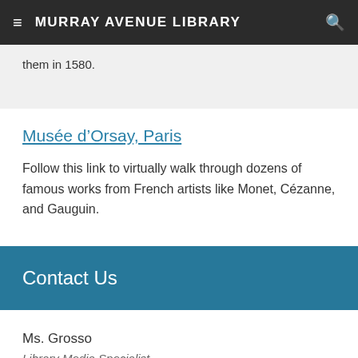MURRAY AVENUE LIBRARY
them in 1580.
Musée d'Orsay, Paris
Follow this link to virtually walk through dozens of famous works from French artists like Monet, Cézanne, and Gauguin.
Contact Us
Ms. Grosso
Library Media Specialist